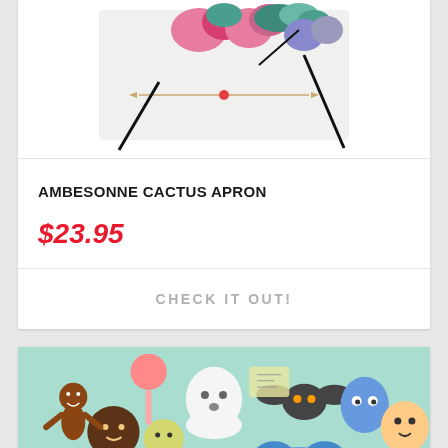[Figure (photo): Top portion of a product card showing a floral apron photo — pink and teal flowers with black ties, partially cropped at the top]
AMBESONNE CACTUS APRON
$23.95
CHECK IT OUT!
[Figure (photo): Bottom product card showing decorated cookies and cake pops on a mint green background — ghost, bat, gingerbread man, and other cute character shapes]